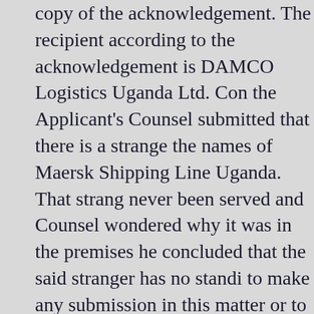copy of the acknowledgement. The recipient according to the acknowledgement is DAMCO Logistics Uganda Ltd. Counsel for the Applicant's Counsel submitted that there is a stranger in the names of Maersk Shipping Line Uganda. That stranger has never been served and Counsel wondered why it was in court. On the premises he concluded that the said stranger has no locus standi to make any submission in this matter or to appear in this case. In other words the said stranger has not right to be before this court and ought not to be heard. Furthermore all along the stranger has the information in their possession. He submitted that DAMCO logistics is formerly Maersk (U) Ltd. In the circumstances the application for all intents and purposes is unopposed and the preliminary point should be overruled.
In rejoinder to the Applicants reply Counsel Mathias Ssekandi submitted that he had been served with a further affidavit in rejoinder having the annexure referred to by the Applicant's Counsel. Furthermore reference was made to an affidavit which throws a spanner in the works. The entitlement should